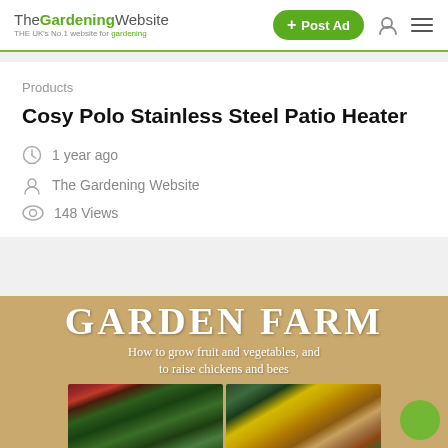The Gardening Website — THE UK's No.1 website for gardening | + Post Ad
Products
Cosy Polo Stainless Steel Patio Heater
1 year ago
The Gardening Website
148 Views
[Figure (photo): Book cover for 'Garden Farm: How to grow fruit and vegetables, and to raise chickens and bees' on a tan/brown background with photos of vegetables and chickens]